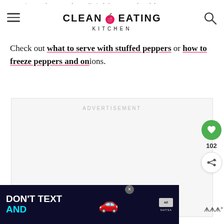CLEAN EATING KITCHEN
Check out what to serve with stuffed peppers or how to freeze peppers and onions.
[Figure (other): Advertisement placeholder box with 'ADVERTISEMENT' label and three dots at bottom]
[Figure (other): Bottom banner advertisement: DON'T TEXT AND [image of red car] with ad badge and NHTSA logo, and a close button]
[Figure (other): Floating action buttons on right side: green heart button with 102 count and share button]